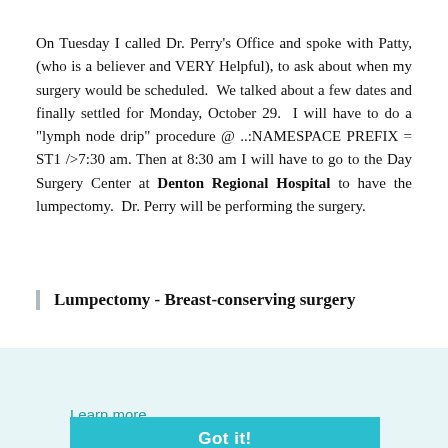On Tuesday I called Dr. Perry's Office and spoke with Patty, (who is a believer and VERY Helpful), to ask about when my surgery would be scheduled. We talked about a few dates and finally settled for Monday, October 29. I will have to do a "lymph node drip" procedure @ ..:NAMESPACE PREFIX = ST1 />7:30 am. Then at 8:30 am I will have to go to the Day Surgery Center at Denton Regional Hospital to have the lumpectomy. Dr. Perry will be performing the surgery.
Lumpectomy - Breast-conserving surgery
...reast is surgery. names: excision, omy is a ed. For
This website uses cookies to ensure you get the best experience on our website.
Learn more
Got it!
ncer has us" area. The duct and any other areas they noticed on the MRI reports and the